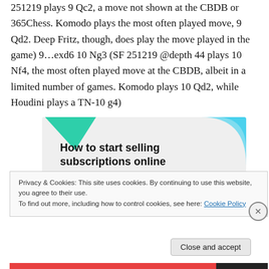251219 plays 9 Qc2, a move not shown at the CBDB or 365Chess. Komodo plays the most often played move, 9 Qd2. Deep Fritz, though, does play the move played in the game) 9…exd6 10 Ng3 (SF 251219 @depth 44 plays 10 Nf4, the most often played move at the CBDB, albeit in a limited number of games. Komodo plays 10 Qd2, while Houdini plays a TN-10 g4)
[Figure (other): Advertisement banner with teal/cyan geometric shapes and text 'How to start selling subscriptions online']
Privacy & Cookies: This site uses cookies. By continuing to use this website, you agree to their use.
To find out more, including how to control cookies, see here: Cookie Policy